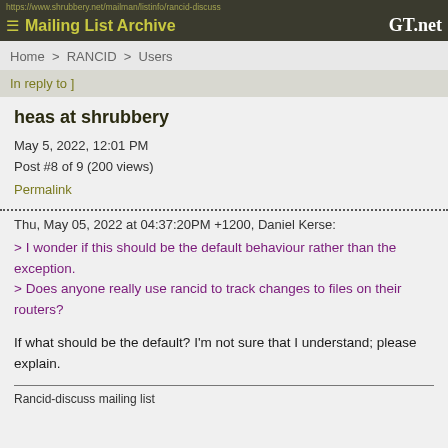https://www.shrubbery.net/mailman/listinfo/rancid-discuss
≡ Mailing List Archive   GT.net
Home > RANCID > Users
In reply to ]
heas at shrubbery
May 5, 2022, 12:01 PM
Post #8 of 9 (200 views)
Permalink
Thu, May 05, 2022 at 04:37:20PM +1200, Daniel Kerse:
> I wonder if this should be the default behaviour rather than the exception.
> Does anyone really use rancid to track changes to files on their routers?

If what should be the default? I'm not sure that I understand; please explain.
Rancid-discuss mailing list